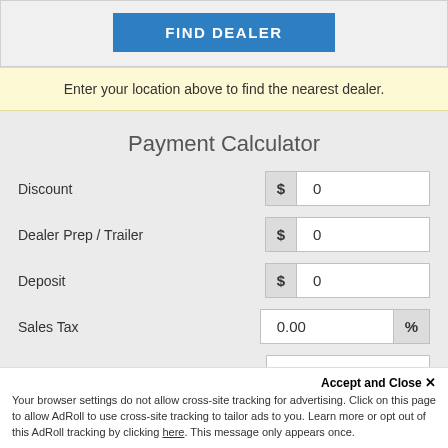[Figure (screenshot): Blue FIND DEALER button on grey background]
Enter your location above to find the nearest dealer.
Payment Calculator
Discount $ 0
Dealer Prep / Trailer $ 0
Deposit $ 0
Sales Tax 0.00 %
No. of Payments 60
Accept and Close ×
Your browser settings do not allow cross-site tracking for advertising. Click on this page to allow AdRoll to use cross-site tracking to tailor ads to you. Learn more or opt out of this AdRoll tracking by clicking here. This message only appears once.